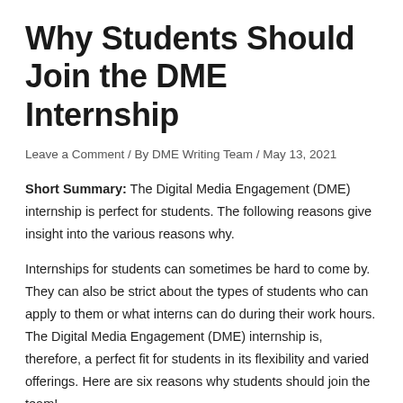Why Students Should Join the DME Internship
Leave a Comment / By DME Writing Team / May 13, 2021
Short Summary: The Digital Media Engagement (DME) internship is perfect for students. The following reasons give insight into the various reasons why.
Internships for students can sometimes be hard to come by. They can also be strict about the types of students who can apply to them or what interns can do during their work hours. The Digital Media Engagement (DME) internship is, therefore, a perfect fit for students in its flexibility and varied offerings. Here are six reasons why students should join the team!
1. It's Flexible